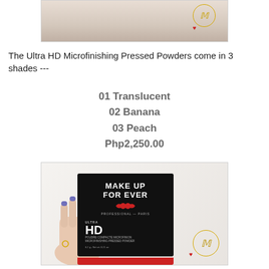[Figure (photo): Partial view of a woman in white lace clothing, with a gold circle logo watermark in the top right and a red heart]
The Ultra HD Microfinishing Pressed Powders come in 3 shades ---
01 Translucent
02 Banana
03 Peach
Php2,250.00
[Figure (photo): Hand holding a Make Up For Ever Ultra HD Microfinishing Pressed Powder black compact box with red bottom stripe, with gold circle logo watermark]